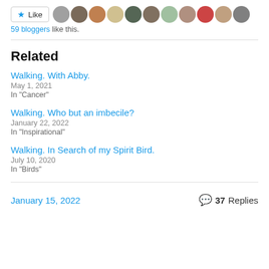[Figure (other): Like button with star icon and row of 11 blogger avatar photos]
59 bloggers like this.
Related
Walking. With Abby.
May 1, 2021
In "Cancer"
Walking. Who but an imbecile?
January 22, 2022
In "Inspirational"
Walking. In Search of my Spirit Bird.
July 10, 2020
In "Birds"
January 15, 2022
37 Replies